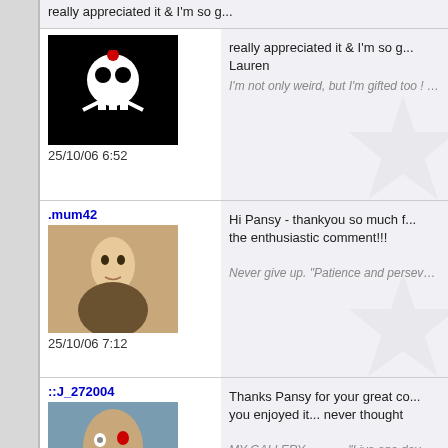really appreciated it & I'm so g... Lauren
25/10/06 6:52
I'm not only weird, but I'm gifted too ! ....
.mum42
25/10/06 7:12
Hi Pansy - thankyou so much f... the enthusiastic comment!!!
Never give up. "Patience and persevera... disappear and obstacles vanish." John Q
::J_272004
25/10/06 10:08
Thanks Pansy for your great co... you enjoyed it... never thought
MY GALLERY ........... "Live one day at a
.Homtail
25/10/06 11:41
Hi Pansy, im so flattered by you... say such nice things. Im glad y... wonderful comment on 'Curving